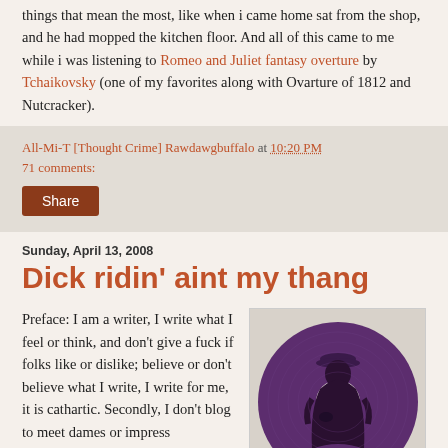things that mean the most, like when i came home sat from the shop, and he had mopped the kitchen floor. And all of this came to me while i was listening to Romeo and Juliet fantasy overture by Tchaikovsky (one of my favorites along with Ovarture of 1812 and Nutcracker).
All-Mi-T [Thought Crime] Rawdawgbuffalo at 10:20 PM
71 comments:
Share
Sunday, April 13, 2008
Dick ridin' aint my thang
Preface: I am a writer, I write what I feel or think, and don't give a fuck if folks like or dislike; believe or don't believe what I write, I write for me, it is cathartic. Secondly, I don't blog to meet dames or impress
[Figure (illustration): Circular vinyl record illustration with a silhouette of a man in a hat on a purple/dark background]